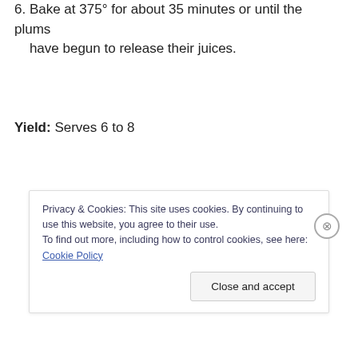6. Bake at 375° for about 35 minutes or until the plums have begun to release their juices.
Yield: Serves 6 to 8
Privacy & Cookies: This site uses cookies. By continuing to use this website, you agree to their use.
To find out more, including how to control cookies, see here: Cookie Policy